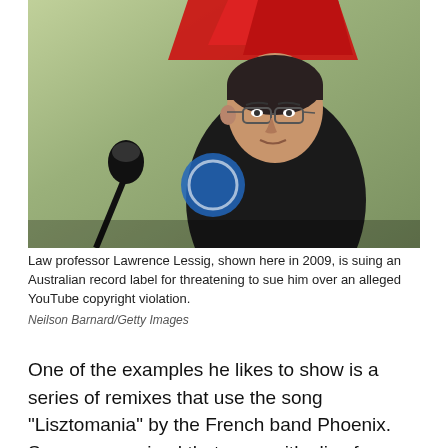[Figure (photo): Law professor Lawrence Lessig standing at a podium/microphone in front of a green banner with red graphics and a blue circular logo, wearing a black jacket, photographed in 2009]
Law professor Lawrence Lessig, shown here in 2009, is suing an Australian record label for threatening to sue him over an alleged YouTube copyright violation.
Neilson Barnard/Getty Images
One of the examples he likes to show is a series of remixes that use the song "Lisztomania" by the French band Phoenix. Someone remixed that song with clips from the iconic '80s